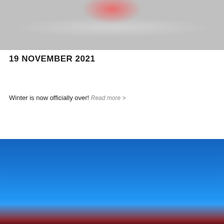[Figure (photo): Black and white snow scene with a pink/red sculptural element and people in the background]
19 NOVEMBER 2021
Winter is now officially over! Read more >
[Figure (photo): Blue sky scene with a dark red structure visible at the bottom edge]